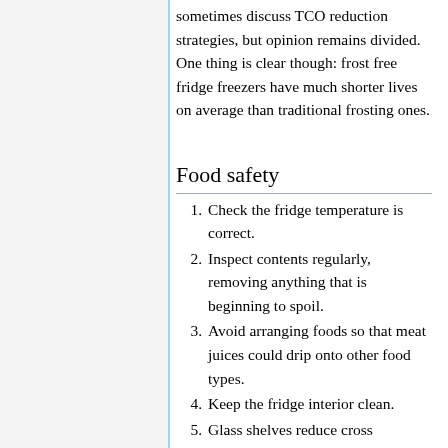sometimes discuss TCO reduction strategies, but opinion remains divided. One thing is clear though: frost free fridge freezers have much shorter lives on average than traditional frosting ones.
Food safety
Check the fridge temperature is correct.
Inspect contents regularly, removing anything that is beginning to spoil.
Avoid arranging foods so that meat juices could drip onto other food types.
Keep the fridge interior clean.
Glass shelves reduce cross contamination by reducing drips.